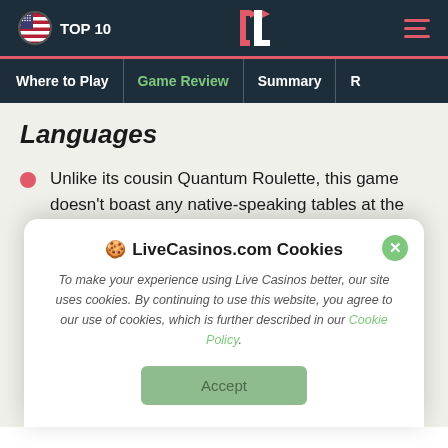TOP 10 | CL logo | hamburger menu
Where to Play | Game Review | Summary | R…
Languages
Unlike its cousin Quantum Roulette, this game doesn't boast any native-speaking tables at the moment. The dealers speak English exclusively. Fortunately, you can at least change the interface to a different language. Your options include English.
LiveCasinos.com Cookies

To make your experience using Live Casinos better, our site uses cookies. By continuing to use this website, you agree to our use of cookies, which is further described in our Cookie Policy.

Accept